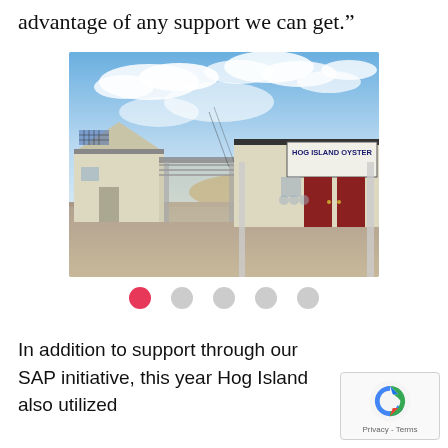advantage of any support we can get.”
[Figure (photo): Exterior photograph of Hog Island Oyster farm buildings under a partly cloudy blue sky. Shows several white/cream-colored wooden buildings with a gravel parking area. A sign reading 'HOG ISLAND OYSTER' is visible on the right building. Covered walkway connects the structures in the middle.]
In addition to support through our SAP initiative, this year Hog Island also utilized